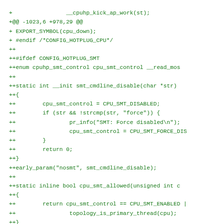[Figure (other): Source code diff showing Linux kernel CPU hotplug SMT (Simultaneous Multi-Threading) control code additions, displayed as a git diff with green '+' prefix lines indicating added code.]